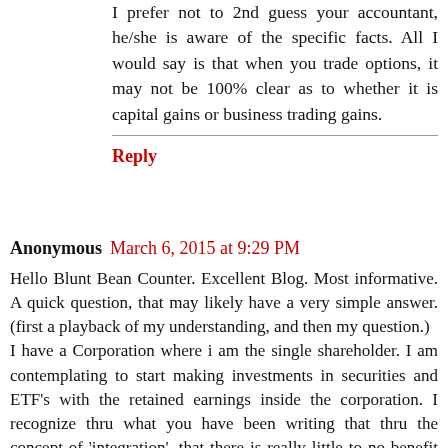I prefer not to 2nd guess your accountant, he/she is aware of the specific facts. All I would say is that when you trade options, it may not be 100% clear as to whether it is capital gains or business trading gains.
Reply
Anonymous  March 6, 2015 at 9:29 PM
Hello Blunt Bean Counter. Excellent Blog. Most informative. A quick question, that may likely have a very simple answer. (first a playback of my understanding, and then my question.) I have a Corporation where i am the single shareholder. I am contemplating to start making investments in securities and ETF's with the retained earnings inside the corporation. I recognize thru what you have been writing that thru the concept of 'integration', that there is really little to no benefit from a taxation perspective to invest $ inside the corp, vs. as an individual(integration). And what you are saying is - Where there is potential benefit is tax deferral, in that i can